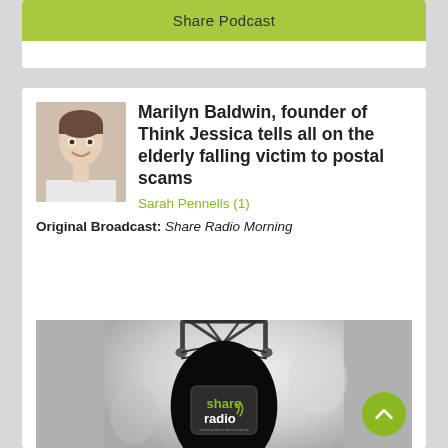Share Podcast
Marilyn Baldwin, founder of Think Jessica tells all on the elderly falling victim to postal scams
Sarah Pennells (1)
Original Broadcast: Share Radio Morning
[Figure (photo): Close-up photo of a microphone with a Share Radio branded windscreen/cover showing 'share radio' logo in green and white text on a dark grey/black background]